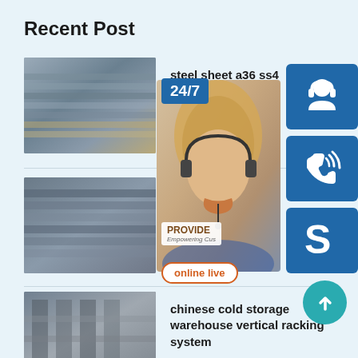Recent Post
[Figure (photo): Steel sheet photo thumbnail - stacked metal sheets]
steel sheet a36 ss4
August 29, 2020
[Figure (photo): Steel plates stacked in storage]
rst37 2 cameroon
August 29, 2020
[Figure (photo): Warehouse interior with steel sheets]
chinese cold storage warehouse vertical racking system
August 29, 2020
[Figure (infographic): Customer service overlay widget with 24/7 badge, headset icon, phone icon, Skype icon, PROVIDE Empowering Customers text, and online live button]